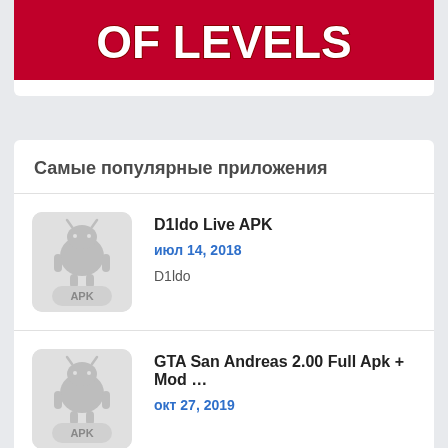[Figure (illustration): Red banner with white bold text '...OF LEVELS' on dark red background, partial view]
Самые популярные приложения
[Figure (illustration): Android robot APK placeholder icon, gray background]
D1ldo Live APK
июл 14, 2018
D1ldo
[Figure (illustration): Android robot APK placeholder icon, gray background]
GTA San Andreas 2.00 Full Apk + Mod …
окт 27, 2019